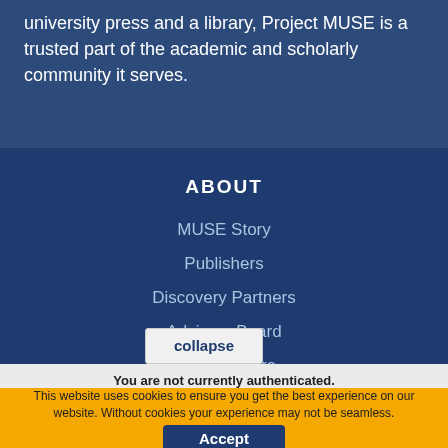university press and a library, Project MUSE is a trusted part of the academic and scholarly community it serves.
ABOUT
MUSE Story
Publishers
Discovery Partners
Advisory Board
Jo...rs
collapse
You are not currently authenticated. If you would like to authenticate using a different subscribed institution or
This website uses cookies to ensure you get the best experience on our website. Without cookies your experience may not be seamless.
Accept